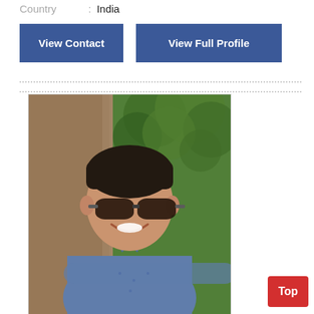Country  :  India
View Contact
View Full Profile
[Figure (photo): Profile photo of a young Indian man wearing aviator sunglasses and a blue dotted shirt, smiling, with green trees in the background.]
Top